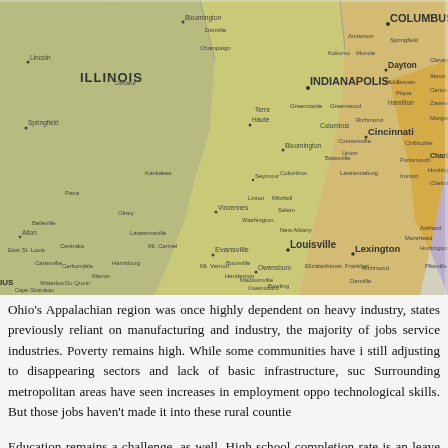[Figure (map): Partial map of the Midwest/Appalachian United States showing states including Illinois, Indiana, Ohio, and Kentucky with city labels such as Indianapolis, Columbus, Cincinnati, Louisville, and Lexington. The map uses color regions to denote different areas.]
Ohio's Appalachian region was once highly dependent on heavy industry, states previously reliant on manufacturing and industry, the majority of jobs service industries. Poverty remains high. While some communities have i still adjusting to disappearing sectors and lack of basic infrastructure, suc Surrounding metropolitan areas have seen increases in employment oppo technological skills. But those jobs haven't made it into these rural countie
Education remains a challenge, as well. High school completion rate is an leave high school are often unprepared for skilled labor jobs or even com likely than those in non-rural schools to offer programs that prepare stude The offerings typically reflect the differences in labor markets. Jobs that a city, which could be up to an hour's drive or more. Next to joining the milit